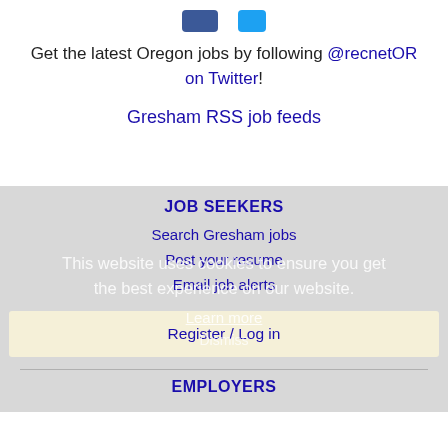[Figure (other): Social media icons - Facebook (blue rectangle) and Twitter (blue rectangle)]
Get the latest Oregon jobs by following @recnetOR on Twitter!
Gresham RSS job feeds
JOB SEEKERS
This website uses cookies to ensure you get the best experience on our website.
Learn more
Search Gresham jobs
Post your resume
Email job alerts
Register / Log in
Dismiss
EMPLOYERS